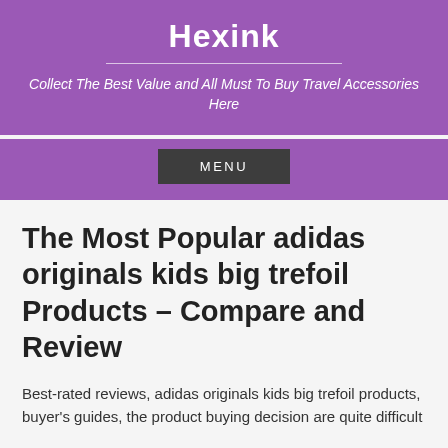Hexink
Collect The Best Value and All Must To Buy Travel Accessories Here
MENU
The Most Popular adidas originals kids big trefoil Products – Compare and Review
Best-rated reviews, adidas originals kids big trefoil products, buyer's guides, the product buying decision are quite difficult